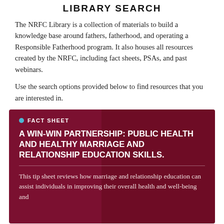LIBRARY SEARCH
The NRFC Library is a collection of materials to build a knowledge base around fathers, fatherhood, and operating a Responsible Fatherhood program. It also houses all resources created by the NRFC, including fact sheets, PSAs, and past webinars.
Use the search options provided below to find resources that you are interested in.
[Figure (infographic): Dark maroon card with a background photo of a person. Contains a teal bullet dot and 'FACT SHEET' label, a bold white uppercase title 'A WIN-WIN PARTNERSHIP: PUBLIC HEALTH AND HEALTHY MARRIAGE AND RELATIONSHIP EDUCATION SKILLS.', a horizontal divider, and body text: 'This tip sheet reviews how marriage and relationship education can assist individuals in improving their overall health and well-being and']